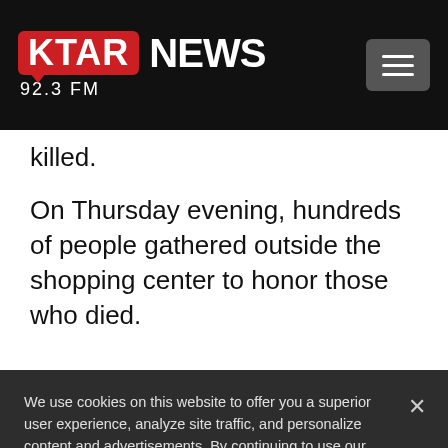KTAR NEWS 92.3 FM
killed.
On Thursday evening, hundreds of people gathered outside the shopping center to honor those who died.
We use cookies on this website to offer you a superior user experience, analyze site traffic, and personalize content and advertisements. By continuing to use our site, you consent to our use of cookies. Please visit our Privacy Policy for more information.
Accept Cookies